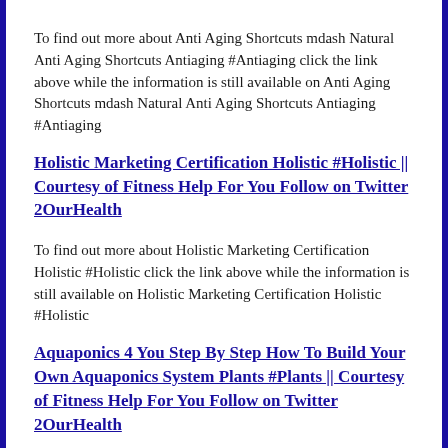To find out more about Anti Aging Shortcuts mdash Natural Anti Aging Shortcuts Antiaging #Antiaging click the link above while the information is still available on Anti Aging Shortcuts mdash Natural Anti Aging Shortcuts Antiaging #Antiaging
Holistic Marketing Certification Holistic #Holistic || Courtesy of Fitness Help For You Follow on Twitter 2OurHealth
To find out more about Holistic Marketing Certification Holistic #Holistic click the link above while the information is still available on Holistic Marketing Certification Holistic #Holistic
Aquaponics 4 You Step By Step How To Build Your Own Aquaponics System Plants #Plants || Courtesy of Fitness Help For You Follow on Twitter 2OurHealth